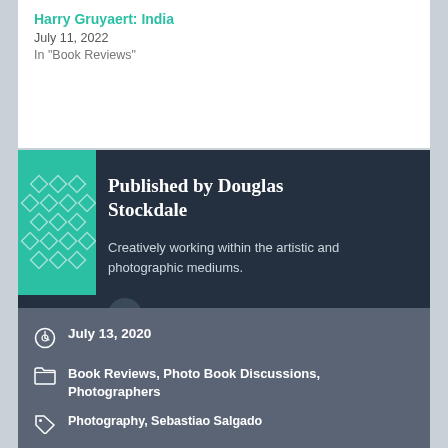Harry Gruyaert: India
July 11, 2022
In "Book Reviews"
Published by Douglas Stockdale
Creatively working within the artistic and photographic mediums.
View all posts by Douglas Stockdale
July 13, 2020
Book Reviews, Photo Book Discussions, Photographers
Photography, Sebastiao Salgado